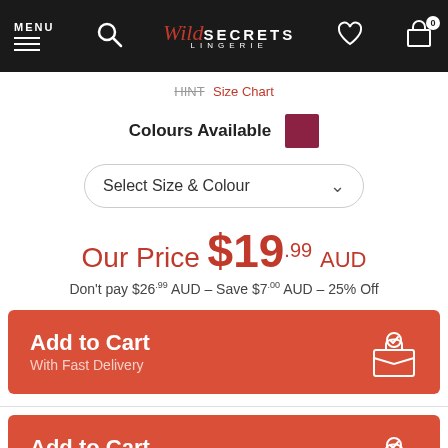Wild Secrets Lingerie — navigation bar with MENU, search, logo, heart, and cart icons
Size Chart
Colours Available
Select Size & Colour
Our Price $19.99 AUD
Don't pay $26.99 AUD – Save $7.00 AUD – 25% Off
[Figure (screenshot): Add to Cart button with fast delivery icon (box with checkmark)]
[Figure (screenshot): Second Add to Cart button with fast delivery icon (box with checkmark)]